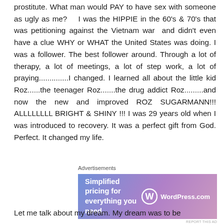prostitute.  What man would PAY to have sex with someone as ugly as me?   I was the HIPPIE in the 60's & 70's that was petitioning against the Vietnam war  and didn't even have a clue WHY or WHAT the United States was doing. I was a follower.  The best follower around. Through a lot of therapy, a lot of meetings, a lot of step work, a lot of praying..............I changed.  I learned all about the little kid Roz......the teenager Roz.......the drug addict Roz.........and now the new and improved ROZ SUGARMANN!!! ALLLLLLLL BRIGHT & SHINY !!!  I was 29 years old when I was introduced to recovery.  It was a perfect gift from God.  Perfect.  It changed my life.
Advertisements
[Figure (other): WordPress.com advertisement banner with gradient purple/blue background. Left side text: 'Simplified pricing for everything you need.' Right side: WordPress.com logo with circular W icon.]
Let me talk about my dream.  My dream was to be